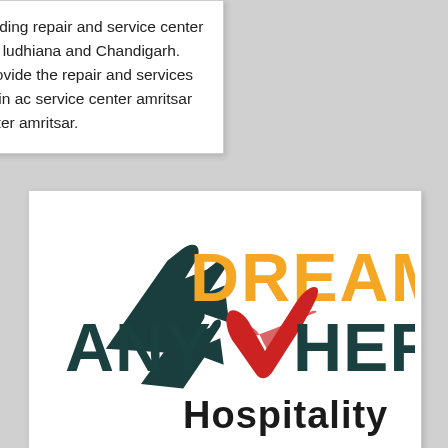projector care is a leading repair and service center in amritsar, jalandhar, ludhiana and Chandigarh. Our company also provide the repair and services of air conditioner daikin ac service center amritsar  and lg ac service center amritsar.
[Figure (logo): Dreams Anywhere Hospitality logo with airplane silhouette and stylized text]